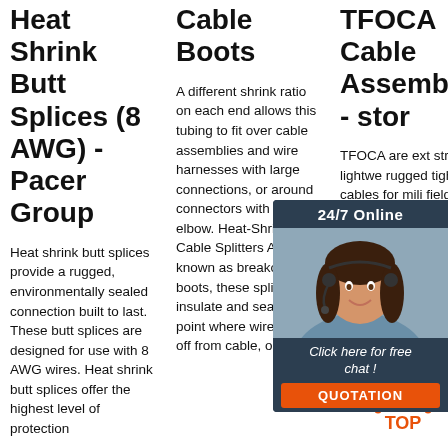Heat Shrink Butt Splices (8 AWG) - Pacer Group
Heat shrink butt splices provide a rugged, environmentally sealed connection built to last. These butt splices are designed for use with 8 AWG wires. Heat shrink butt splices offer the highest level of protection
Cable Boots
A different shrink ratio on each end allows this tubing to fit over cable assemblies and wire harnesses with large connections, or around connectors with a 90° elbow. Heat-Shrink Cable Splitters Also known as breakout boots, these splitters insulate and seal the point where wire splits off from cable, or where
TFOCA Cable Assemblies - stor
TFOCA are ext strong, lightwe rugged tight-bu cables for mili field us commercial applications. TFOCA connectors are specifically designed, developed and
[Figure (photo): Customer service agent with headset, smiling, with dark background chat widget showing '24/7 Online', 'Click here for free chat!', 'QUOTATION' button, and a TOP navigation icon]